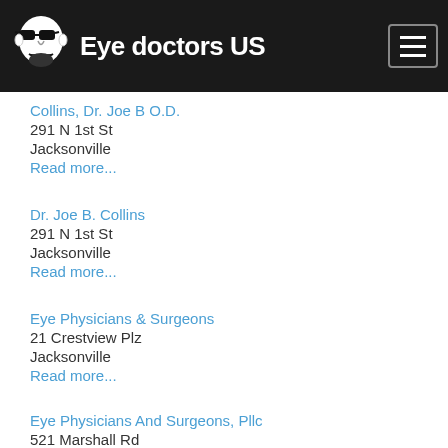Eye doctors US
Collins, Dr. Joe B O.D.
291 N 1st St
Jacksonville
Read more...
Dr. Joe B. Collins
291 N 1st St
Jacksonville
Read more...
Eye Physicians & Surgeons
21 Crestview Plz
Jacksonville
Read more...
Eye Physicians And Surgeons, Pllc
521 Marshall Rd